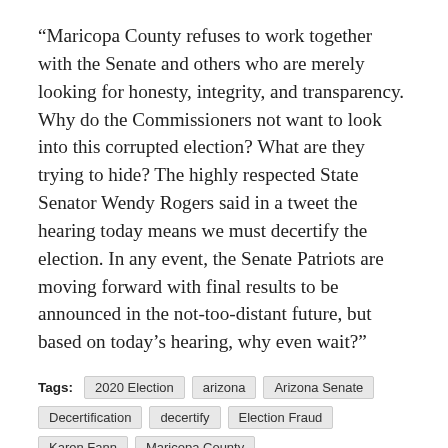“Maricopa County refuses to work together with the Senate and others who are merely looking for honesty, integrity, and transparency. Why do the Commissioners not want to look into this corrupted election? What are they trying to hide? The highly respected State Senator Wendy Rogers said in a tweet the hearing today means we must decertify the election. In any event, the Senate Patriots are moving forward with final results to be announced in the not-too-distant future, but based on today’s hearing, why even wait?”
Tags: 2020 Election | arizona | Arizona Senate | Decertification | decertify | Election Fraud | Karen Fann | Maricopa County | President Donald Trump | voter fraud